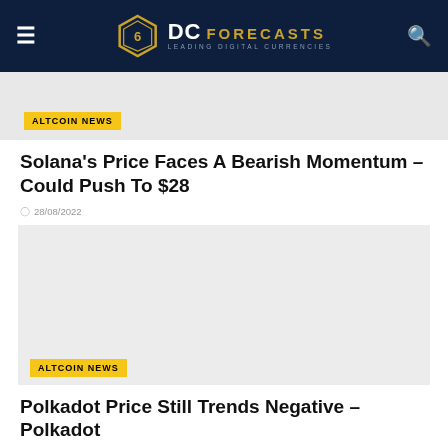DC FORECASTS – LEADING DIGITAL CURRENCIES
ALTCOIN NEWS
Solana's Price Faces A Bearish Momentum – Could Push To $28
28/08/2022
[Figure (photo): Article image placeholder for second article]
ALTCOIN NEWS
Polkadot Price Still Trends Negative – Polkadot